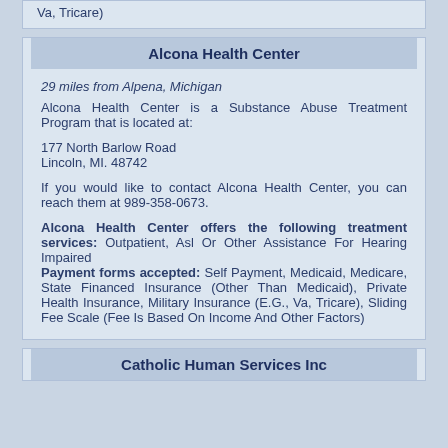Va, Tricare)
Alcona Health Center
29 miles from Alpena, Michigan
Alcona Health Center is a Substance Abuse Treatment Program that is located at:
177 North Barlow Road
Lincoln, MI. 48742
If you would like to contact Alcona Health Center, you can reach them at 989-358-0673.
Alcona Health Center offers the following treatment services: Outpatient, Asl Or Other Assistance For Hearing Impaired
Payment forms accepted: Self Payment, Medicaid, Medicare, State Financed Insurance (Other Than Medicaid), Private Health Insurance, Military Insurance (E.G., Va, Tricare), Sliding Fee Scale (Fee Is Based On Income And Other Factors)
Catholic Human Services Inc